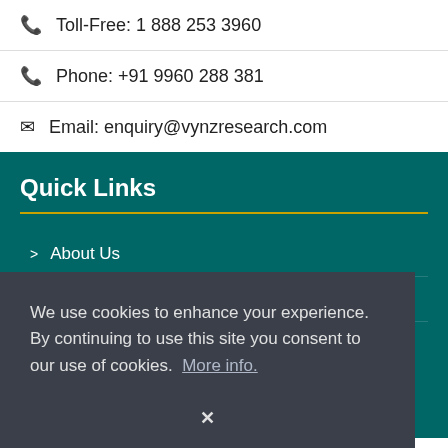Toll-Free: 1 888 253 3960
Phone: +91 9960 288 381
Email: enquiry@vynzresearch.com
Quick Links
About Us
Services
We use cookies to enhance your experience. By continuing to use this site you consent to our use of cookies. More info.
✕
How to Order